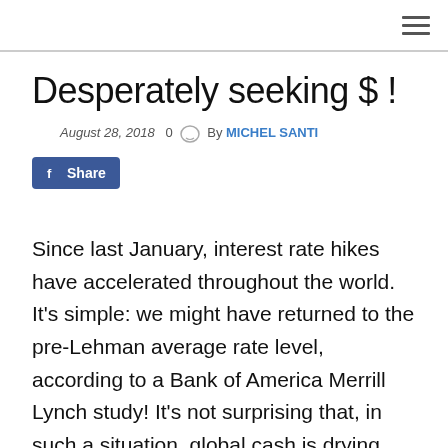Desperately seeking $ !
August 28, 2018  0  By MICHEL SANTI
[Figure (other): Facebook Share button with Facebook logo icon]
Since last January, interest rate hikes have accelerated throughout the world. It’s simple: we might have returned to the pre-Lehman average rate level, according to a Bank of America Merrill Lynch study! It’s not surprising that, in such a situation, global cash is drying